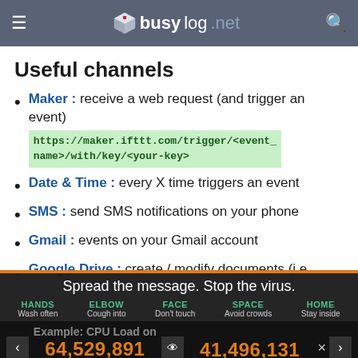busylog.net
Useful channels
Maker : receive a web request (and trigger an event) https://maker.ifttt.com/trigger/<event_name>/with/key/<your-key>
Date & Time : every X time triggers an event
SMS : send SMS notifications on your phone
Gmail : events on your Gmail account
Google Drive : create / modify documents (i.e. add row to spreadsheet).
[Figure (infographic): COVID-19 awareness overlay banner with message 'Spread the message. Stop the virus.' and 5 tips: HANDS Wash often, ELBOW Cough into, FACE Don't touch, SPACE Avoid crowds, HOME Stay inside. Stats show 64,529,891 Confirmed and 41,496,131 Recovered.]